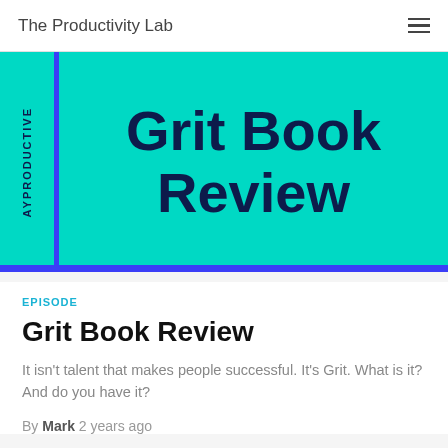The Productivity Lab
[Figure (illustration): Teal/cyan book cover graphic with dark navy bold text reading 'Grit Book Review', a vertical blue stripe on the left side, and rotated text 'AYPRODUCTIVE' on the far left spine area.]
EPISODE
Grit Book Review
It isn't talent that makes people successful. It's Grit. What is it? And do you have it?
By Mark  2 years ago